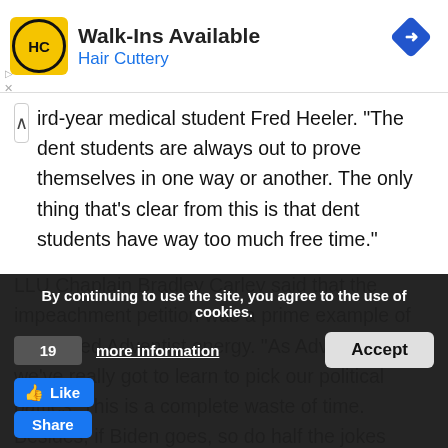[Figure (logo): Hair Cuttery advertisement banner with HC logo on yellow background, text 'Walk-Ins Available' and 'Hair Cuttery', blue diamond navigation arrow icon on right]
ird-year medical student Fred Heeler. “The dent students are always out to prove themselves in one way or another. The only thing that’s clear from this is that dent students have way too much free time.”
LLU Chaplain Bradley Carley said that the impeachment petition was a prime example of misplaced Adventist energy. “As Adventists we’ve really got to learn to pick our political battles. This is a complete waste of time. Besides, if Biden goes, so do half the jokes about Washington.”
By continuing to use the site, you agree to the use of cookies.
more information
Accept